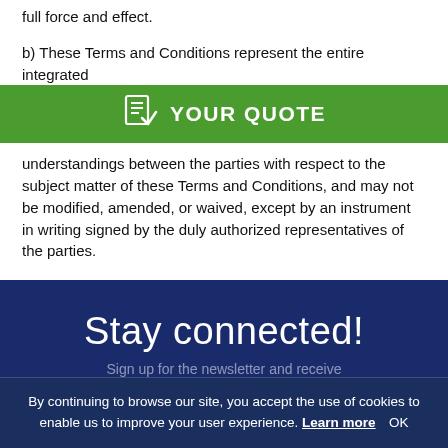full force and effect.
b) These Terms and Conditions represent the entire integrated
[Figure (other): Green banner with document icon and text YOUR QUOTE]
understandings between the parties with respect to the subject matter of these Terms and Conditions, and may not be modified, amended, or waived, except by an instrument in writing signed by the duly authorized representatives of the parties.
Stay connected!
Sign up for the newsletter and receive
By continuing to browse our site, you accept the use of cookies to enable us to improve your user experience. Learn more  OK